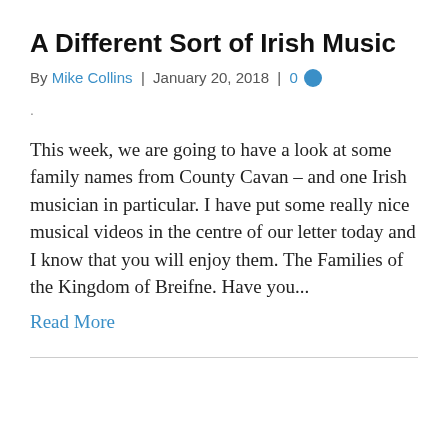A Different Sort of Irish Music
By Mike Collins  |  January 20, 2018  |  0
.
This week, we are going to have a look at some family names from County Cavan – and one Irish musician in particular. I have put some really nice musical videos in the centre of our letter today and I know that you will enjoy them. The Families of the Kingdom of Breifne. Have you...
Read More